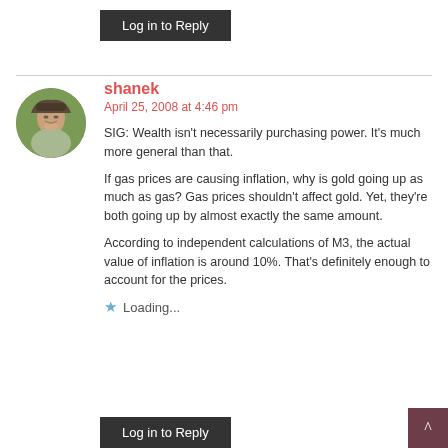Log in to Reply
shanek
April 25, 2008 at 4:46 pm
SIG: Wealth isn't necessarily purchasing power. It's much more general than that.
If gas prices are causing inflation, why is gold going up as much as gas? Gas prices shouldn't affect gold. Yet, they're both going up by almost exactly the same amount.
According to independent calculations of M3, the actual value of inflation is around 10%. That's definitely enough to account for the prices.
Loading...
Log in to Reply